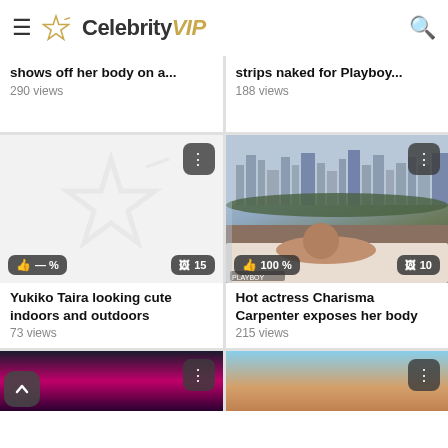CelebrityVIP
shows off her body on a... 290 views
strips naked for Playboy... 188 views
[Figure (photo): Placeholder image with star watermark for Yukiko Taira article]
[Figure (photo): Photo of Charisma Carpenter posing by an infinity pool with city skyline]
Yukiko Taira looking cute indoors and outdoors
73 views
Hot actress Charisma Carpenter exposes her body
215 views
[Figure (photo): Partial image showing blonde celebrity on dark background]
[Figure (photo): Partial image showing figure on blue/tan background]